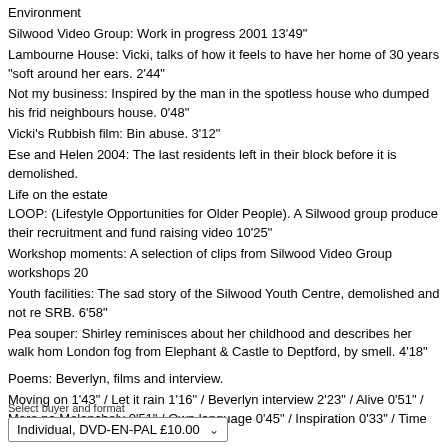Environment
Silwood Video Group: Work in progress 2001 13'49"
Lambourne House: Vicki, talks of how it feels to have her home of 30 years "soft around her ears. 2'44"
Not my business: Inspired by the man in the spotless house who dumped his frid neighbours house. 0'48"
Vicki's Rubbish film: Bin abuse. 3'12"
Ese and Helen 2004: The last residents left in their block before it is demolished.
Life on the estate
LOOP: (Lifestyle Opportunities for Older People). A Silwood group produce their recruitment and fund raising video 10'25"
Workshop moments: A selection of clips from Silwood Video Group workshops 20
Youth facilities: The sad story of the Silwood Youth Centre, demolished and not re SRB. 6'58"
Pea souper: Shirley reminisces about her childhood and describes her walk home London fog from Elephant & Castle to Deptford, by smell. 4'18"
Poems: Beverlyn, films and interview.
Moving on 1'43" / Let it rain 1'16" / Beverlyn interview 2'23" / Alive 0'51" / More pa Melancholy 0'51" / Own language 0'45" / Inspiration 0'33" / Time to move on 1'45
Select buyer and format
Individual, DVD-EN-PAL £10.00